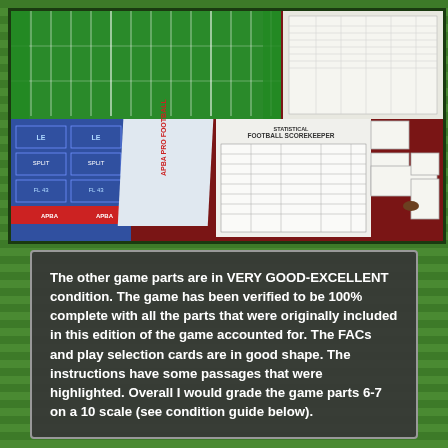[Figure (photo): Photograph of a football board game spread out on a dark red surface, showing a green football field game board in the upper left, blue and white play cards/charts in the middle-left area, a statistics scoresheet in the center, and various small cards and rule sheets on the right side.]
The other game parts are in VERY GOOD-EXCELLENT condition. The game has been verified to be 100% complete with all the parts that were originally included in this edition of the game accounted for. The FACs and play selection cards are in good shape. The instructions have some passages that were highlighted. Overall I would grade the game parts 6-7 on a 10 scale (see condition guide below).